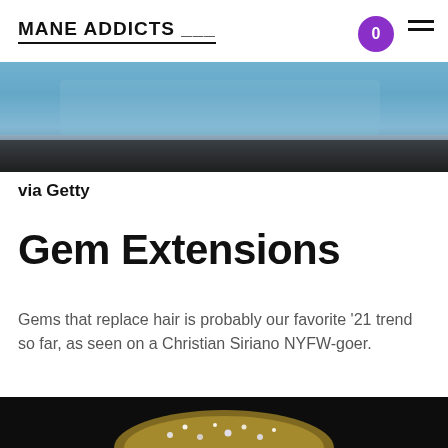MANE ADDICTS
[Figure (photo): Top portion of a photo showing a person with blue/denim clothing, cropped at the top of the page]
via Getty
Gem Extensions
Gems that replace hair is probably our favorite '21 trend so far, as seen on a Christian Siriano NYFW-goer.
[Figure (photo): Close-up photo on dark/black background showing an elaborate gem-encrusted braided hairstyle with sparkling rhinestones and crystals woven into golden/blonde hair]